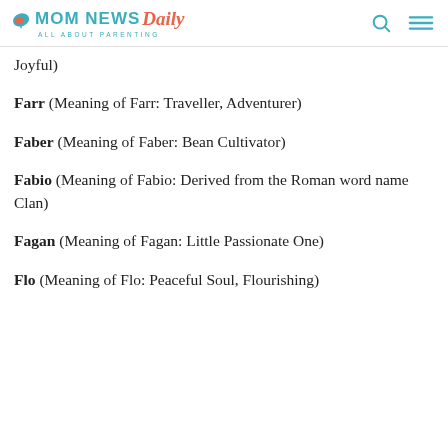MOM NEWS Daily — ALL ABOUT PARENTING
Joyful)
Farr (Meaning of Farr: Traveller, Adventurer)
Faber (Meaning of Faber: Bean Cultivator)
Fabio (Meaning of Fabio: Derived from the Roman word name Clan)
Fagan (Meaning of Fagan: Little Passionate One)
Flo (Meaning of Flo: Peaceful Soul, Flourishing)